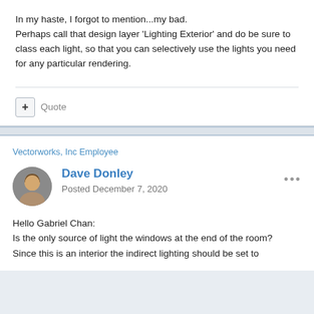In my haste, I forgot to mention...my bad.
Perhaps call that design layer 'Lighting Exterior' and do be sure to class each light, so that you can selectively use the lights you need for any particular rendering.
+ Quote
Vectorworks, Inc Employee
Dave Donley
Posted December 7, 2020
Hello Gabriel Chan:
Is the only source of light the windows at the end of the room?
Since this is an interior the indirect lighting should be set to